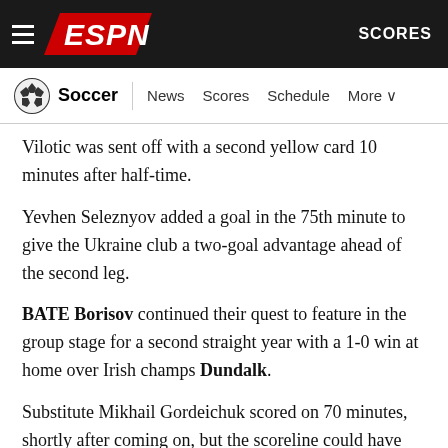ESPN — Soccer | News  Scores  Schedule  More  SCORES
Vilotic was sent off with a second yellow card 10 minutes after half-time.
Yevhen Seleznyov added a goal in the 75th minute to give the Ukraine club a two-goal advantage ahead of the second leg.
BATE Borisov continued their quest to feature in the group stage for a second straight year with a 1-0 win at home over Irish champs Dundalk.
Substitute Mikhail Gordeichuk scored on 70 minutes, shortly after coming on, but the scoreline could have been worse as the Belarus side hit the woodwork twice.
Dinamo Zagreb, who also reached the group stage last year,